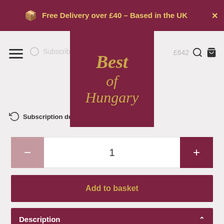Free Delivery over £40 - Based in the UK
[Figure (logo): Best of Hungary logo - dark red background with gold serif italic text reading 'Best of Hungary']
Subscribe
Subscription details
£642
1
Add to basket
Description